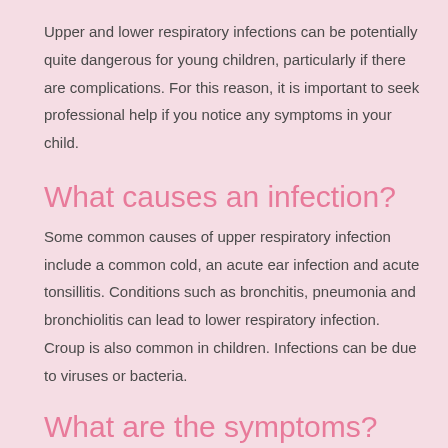Upper and lower respiratory infections can be potentially quite dangerous for young children, particularly if there are complications. For this reason, it is important to seek professional help if you notice any symptoms in your child.
What causes an infection?
Some common causes of upper respiratory infection include a common cold, an acute ear infection and acute tonsillitis. Conditions such as bronchitis, pneumonia and bronchiolitis can lead to lower respiratory infection. Croup is also common in children. Infections can be due to viruses or bacteria.
What are the symptoms?
Some of the most common symptoms include a runny nose, sore throat, shortness of breath, body aches and coughing. Danger signs include a fever over 38 degrees, fast or noisy breathing or a change in